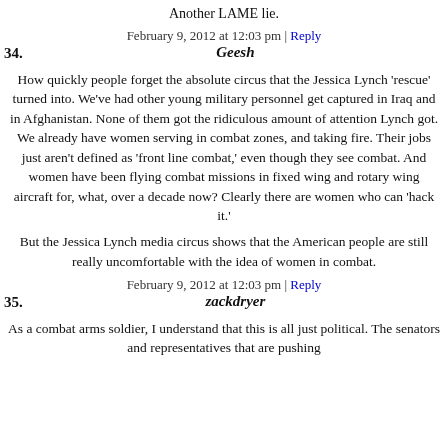Another LAME lie.
February 9, 2012 at 12:03 pm | Reply
34.   Geesh
How quickly people forget the absolute circus that the Jessica Lynch 'rescue' turned into. We've had other young military personnel get captured in Iraq and in Afghanistan. None of them got the ridiculous amount of attention Lynch got. We already have women serving in combat zones, and taking fire. Their jobs just aren't defined as 'front line combat,' even though they see combat. And women have been flying combat missions in fixed wing and rotary wing aircraft for, what, over a decade now? Clearly there are women who can 'hack it.'
But the Jessica Lynch media circus shows that the American people are still really uncomfortable with the idea of women in combat.
February 9, 2012 at 12:03 pm | Reply
35.   zackdryer
As a combat arms soldier, I understand that this is all just political. The senators and representatives that are pushing